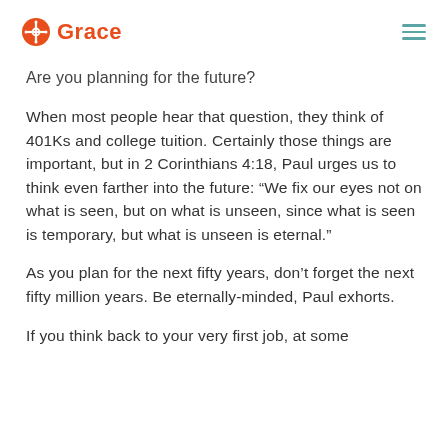Grace
Are you planning for the future?
When most people hear that question, they think of 401Ks and college tuition. Certainly those things are important, but in 2 Corinthians 4:18, Paul urges us to think even farther into the future: “We fix our eyes not on what is seen, but on what is unseen, since what is seen is temporary, but what is unseen is eternal.”
As you plan for the next fifty years, don’t forget the next fifty million years. Be eternally-minded, Paul exhorts.
If you think back to your very first job, at some